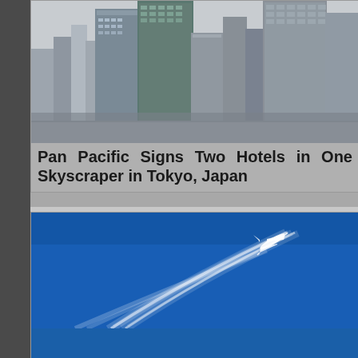[Figure (photo): Tokyo city skyline with skyscrapers and urban buildings, black and white/muted tones]
Pan Pacific Signs Two Hotels in One Skyscraper in Tokyo, Japan
[Figure (photo): Airplane flying high in a deep blue sky with contrails/vapor trails stretching diagonally. Watermark: © Steven Howard TravelNewsAsia.com ASIATravelTips.com]
Asia Pacific Airlines Flew 11.3 Million Int. Passengers in July